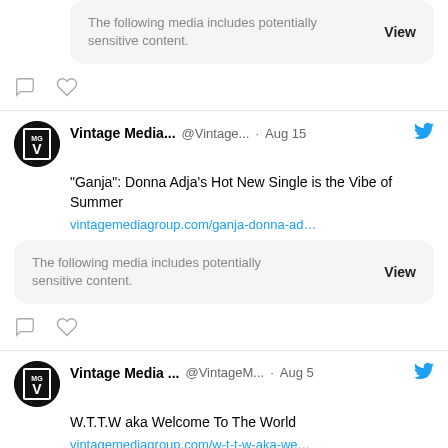The following media includes potentially sensitive content.
[Figure (screenshot): Comment and heart icon buttons]
Vintage Media... @Vintage... · Aug 15 "Ganja": Donna Adja's Hot New Single is the Vibe of Summer vintagemediagroup.com/ganja-donna-ad...
The following media includes potentially sensitive content.
[Figure (screenshot): Comment and heart icon buttons]
Vintage Media ... @VintageM... · Aug 5 W.T.T.W aka Welcome To The World vintagemediagroup.com/w-t-t-w-aka-we...
The following media includes potentially sensitive content.